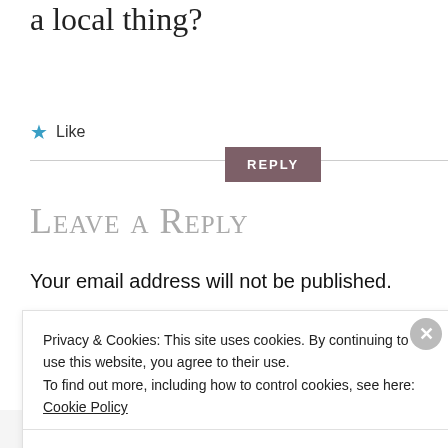a local thing?
★ Like
Leave a Reply
Your email address will not be published.
Required fields are marked *
Privacy & Cookies: This site uses cookies. By continuing to use this website, you agree to their use.
To find out more, including how to control cookies, see here: Cookie Policy
Close and accept